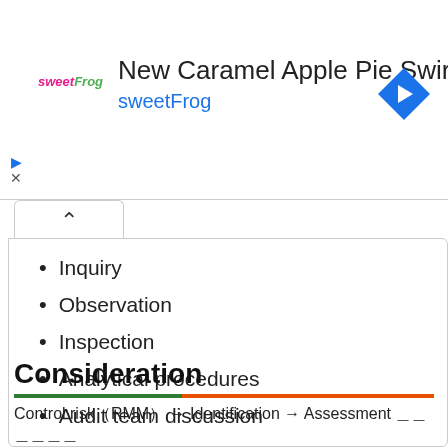[Figure (other): sweetFrog advertisement banner for New Caramel Apple Pie Swirl with logo and navigation icon]
Inquiry
Observation
Inspection
Analytical procedures
Audit team discussion
Consideration
Control risk（RMM） → Identification → Assessment ＿＿＿＿＿＿